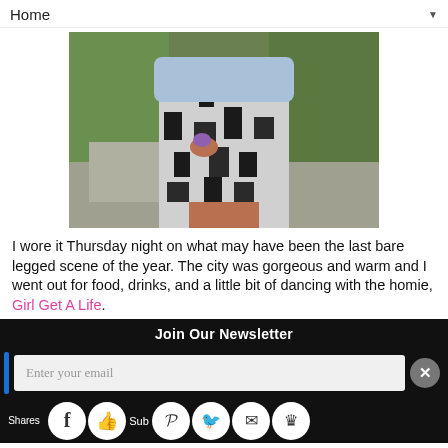Home
[Figure (photo): Close-up photo of a person wearing a black and white patterned dress/skirt with a light blue denim jacket, holding something purple, outdoors with green foliage in the background.]
I wore it Thursday night on what may have been the last bare legged scene of the year. The city was gorgeous and warm and I went out for food, drinks, and a little bit of dancing with the homie, Girl Get A Life.
Join Our Newsletter
Enter your email